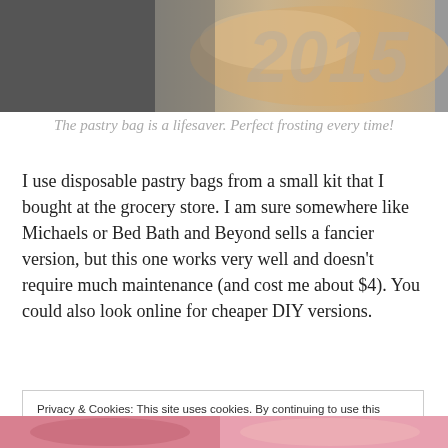[Figure (photo): Top portion of a food/pastry photo with overlaid year text, partially cropped]
The pastry bag is a lifesaver. Perfect frosting every time!
I use disposable pastry bags from a small kit that I bought at the grocery store. I am sure somewhere like Michaels or Bed Bath and Beyond sells a fancier version, but this one works very well and doesn't require much maintenance (and cost me about $4). You could also look online for cheaper DIY versions.
Privacy & Cookies: This site uses cookies. By continuing to use this website, you agree to their use.
To find out more, including how to control cookies, see here: Cookie Policy
Close and accept
[Figure (photo): Bottom partial photo strip showing colorful food/frosting image, cropped]